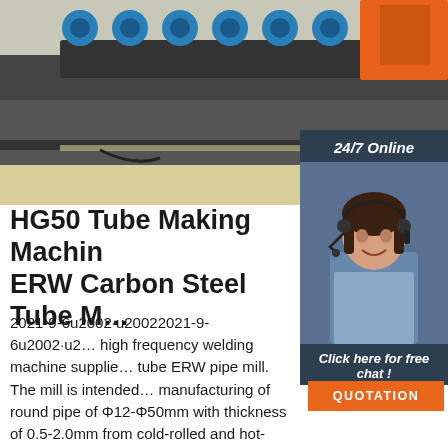[Figure (photo): Industrial tube making machine with blue rollers and orange mechanical components in a factory setting]
HG50 Tube Making Machine ERW Carbon Steel Tube M…
2021-9-6u2002·u20022021-9-6u2002·u2… high frequency welding machine supplie… tube ERW pipe mill. The mill is intended… manufacturing of round pipe of Φ12-Φ50mm with thickness of 0.5-2.0mm from cold-rolled and hot-rolled coil strip by means of unclosed tubular blank with its subsequent welding into tube, edge heating by means of solid state high-frequency welder ...